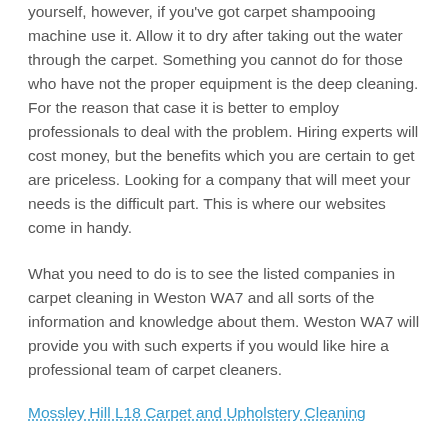yourself, however, if you've got carpet shampooing machine use it. Allow it to dry after taking out the water through the carpet. Something you cannot do for those who have not the proper equipment is the deep cleaning. For the reason that case it is better to employ professionals to deal with the problem. Hiring experts will cost money, but the benefits which you are certain to get are priceless. Looking for a company that will meet your needs is the difficult part. This is where our websites come in handy.
What you need to do is to see the listed companies in carpet cleaning in Weston WA7 and all sorts of the information and knowledge about them. Weston WA7 will provide you with such experts if you would like hire a professional team of carpet cleaners.
Mossley Hill L18 Carpet and Upholstery Cleaning